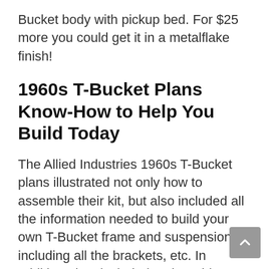Bucket body with pickup bed. For $25 more you could get it in a metalflake finish!
1960s T-Bucket Plans Know-How to Help You Build Today
The Allied Industries 1960s T-Bucket plans illustrated not only how to assemble their kit, but also included all the information needed to build your own T-Bucket frame and suspension, including all the brackets, etc. In addition, they included a nice wiring diagram, instructions on channeling the fiberglass T-Bucket